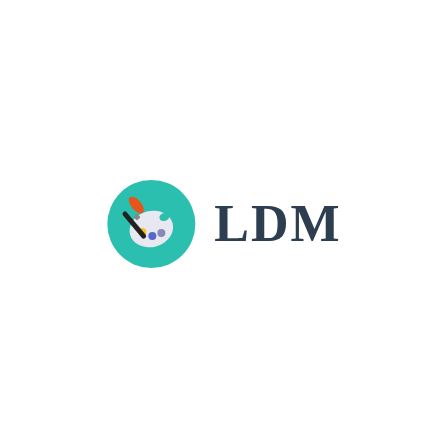[Figure (logo): LDM logo consisting of a teal circular icon with a painter's palette and paintbrush, followed by the bold dark text 'LDM']